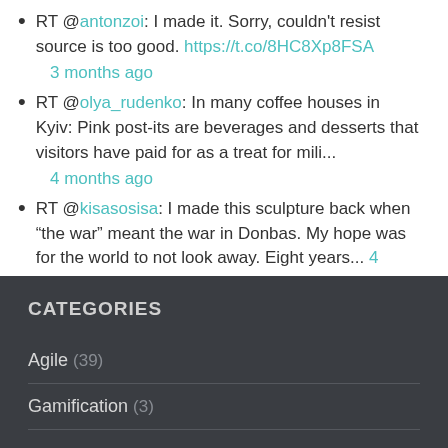RT @antonzoi: I made it. Sorry, couldn't resist source is too good. https://t.co/8HC8Xp8FSA 3 months ago
RT @olya_rudenko: In many coffee houses in Kyiv: Pink post-its are beverages and desserts that visitors have paid for as a treat for mili... 4 months ago
RT @kisasosisa: I made this sculpture back when “the war” meant the war in Donbas. My hope was for the world to not look away. Eight years... 4 months ago
CATEGORIES
Agile (39)
Gamification (3)